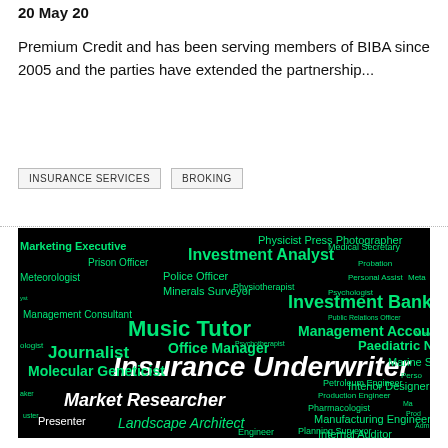20 May 20
Premium Credit and has been serving members of BIBA since 2005 and the parties have extended the partnership...
INSURANCE SERVICES
BROKING
[Figure (illustration): Word cloud on black background featuring various job titles in green and white text, prominently featuring 'Insurance Underwriter' in large white text in the center, surrounded by terms like Investment Analyst, Investment Banker, Music Tutor, Journalist, Molecular Geneticist, Office Manager, Market Researcher, Management Accountant, Paediatric Nurse, and many others in various sizes.]